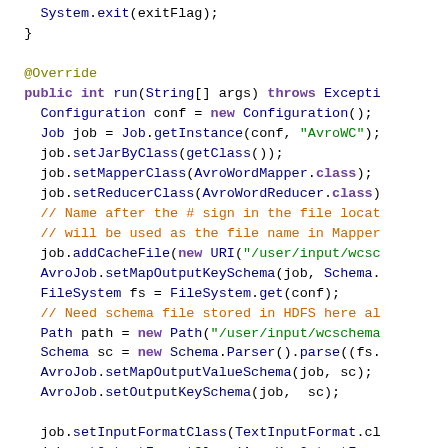[Figure (screenshot): Java source code snippet showing a run() method override with Hadoop/Avro MapReduce job configuration, including syntax-highlighted code with keywords, comments, method calls, and class names in multiple colors (purple, blue, green, orange, black) on a white background.]